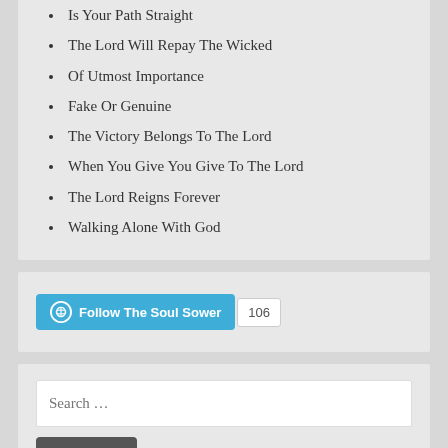Is Your Path Straight
The Lord Will Repay The Wicked
Of Utmost Importance
Fake Or Genuine
The Victory Belongs To The Lord
When You Give You Give To The Lord
The Lord Reigns Forever
Walking Alone With God
Follow The Soul Sower 106
Search ...